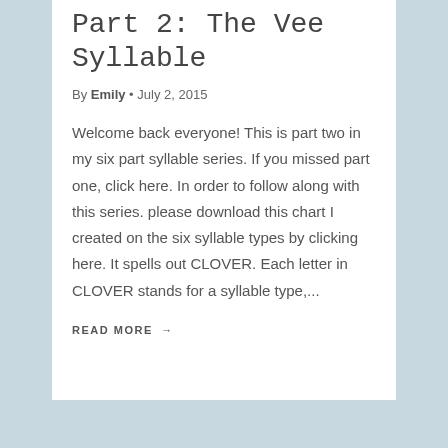Part 2: The Vee Syllable
By Emily • July 2, 2015
Welcome back everyone! This is part two in my six part syllable series. If you missed part one, click here. In order to follow along with this series. please download this chart I created on the six syllable types by clicking here. It spells out CLOVER. Each letter in CLOVER stands for a syllable type,...
READ MORE →